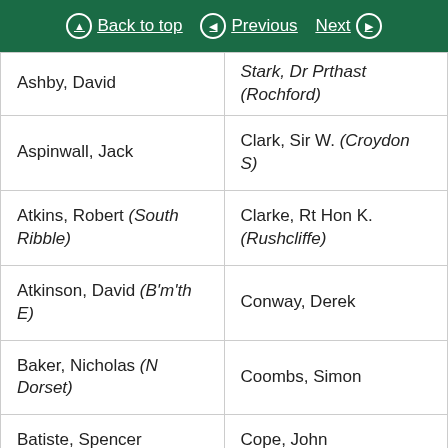Back to top | Previous | Next
| Ashby, David | Stark, Dr Prthast (Rochford) |
| Aspinwall, Jack | Clark, Sir W. (Croydon S) |
| Atkins, Robert (South Ribble) | Clarke, Rt Hon K. (Rushcliffe) |
| Atkinson, David (B'm'th E) | Conway, Derek |
| Baker, Nicholas (N Dorset) | Coombs, Simon |
| Batiste, Spencer | Cope, John |
| Bellingham, Henry | Couchman, James |